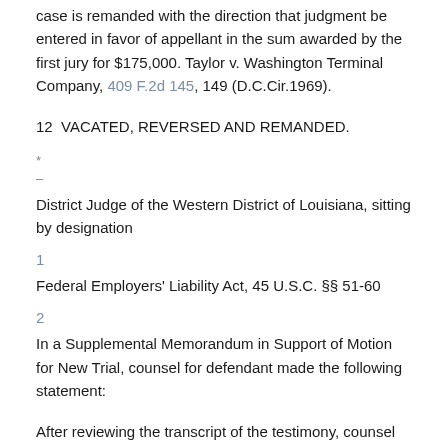case is remanded with the direction that judgment be entered in favor of appellant in the sum awarded by the first jury for $175,000. Taylor v. Washington Terminal Company, 409 F.2d 145, 149 (D.C.Cir.1969).
12 VACATED, REVERSED AND REMANDED.
* —
District Judge of the Western District of Louisiana, sitting by designation
1
Federal Employers' Liability Act, 45 U.S.C. §§ 51-60
2
In a Supplemental Memorandum in Support of Motion for New Trial, counsel for defendant made the following statement:
After reviewing the transcript of the testimony, counsel for defendant has found to be inaccurate the notes, taken at the trial of the action, whereon defendant's argument that there was no evidence to support the jury's